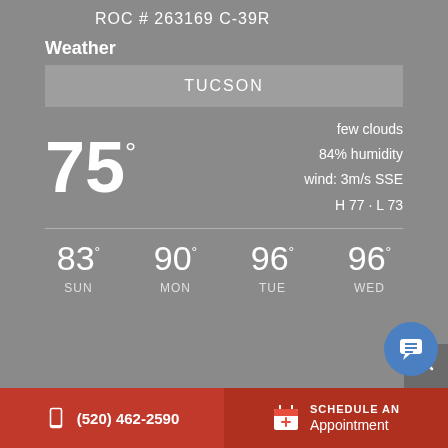ROC # 263169 C-39R
Weather
TUCSON
75°
few clouds
84% humidity
wind: 3m/s SSE
H 77 · L 73
83° SUN   90° MON   96° TUE   96° WED
(520) 462-2590
SCHEDULE AN Appointment